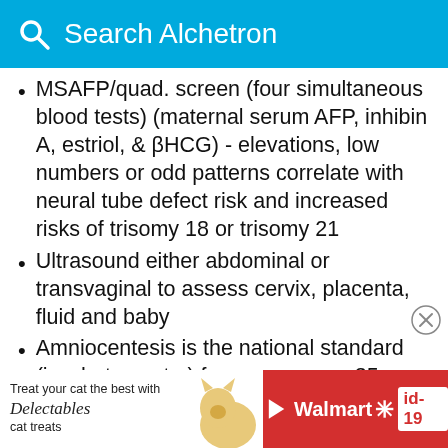Search Alchetron
MSAFP/quad. screen (four simultaneous blood tests) (maternal serum AFP, inhibin A, estriol, & βHCG) - elevations, low numbers or odd patterns correlate with neural tube defect risk and increased risks of trisomy 18 or trisomy 21
Ultrasound either abdominal or transvaginal to assess cervix, placenta, fluid and baby
Amniocentesis is the national standard (in what country) for women over 35 or who reach 35 by mid pregnancy or who are at increased risk by family history or prior birth history.
Third trimester
[He
[Figure (infographic): Walmart advertisement banner: 'Treat your cat the best with Delectables cat treats' with cat image and Walmart branding with id-19 badge]